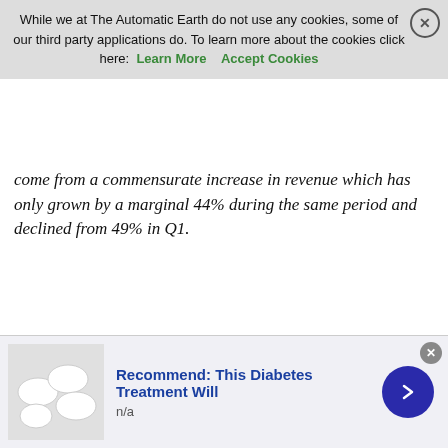Cookie banner: While we at The Automatic Earth do not use any cookies, some of our third party applications do. To learn more about the cookies click here: Learn More | Accept Cookies
come from a commensurate increase in revenue which has only grown by a marginal 44% during the same period and declined from 49% in Q1.
[Figure (line-chart): Dual-axis line chart showing Operating EPS Differential (left y-axis, $0.50-$2.50) and Shares Outstanding (right y-axis, 8500-9200) from 2009 to present. Blue line shows EPS differential decreasing over time. Teal/green line shows Shares Outstanding declining. Annotation: 'Reported EPS Differential Per Share Via Buybacks, $2.36'. Inset bar chart titled 'Accounting Magic! Total Growth 2009-Present' showing Reported EPS 353% and Sales Per Share 44%. 'Tax Cut Bill' annotation near right side.]
[Figure (photo): Advertisement showing white oval pills/capsules with text: Recommend: This Diabetes Treatment Will. n/a]